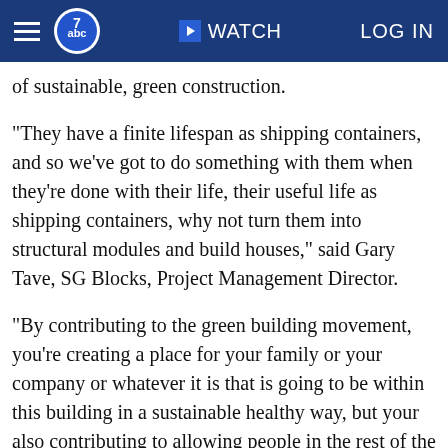abc7 | WATCH | LOG IN
of sustainable, green construction.
"They have a finite lifespan as shipping containers, and so we've got to do something with them when they're done with their life, their useful life as shipping containers, why not turn them into structural modules and build houses," said Gary Tave, SG Blocks, Project Management Director.
"By contributing to the green building movement, you're creating a place for your family or your company or whatever it is that is going to be within this building in a sustainable healthy way, but your also contributing to allowing people in the rest of the world to live that way as well," said Karen Jackson, West Coast Green, Program Director.